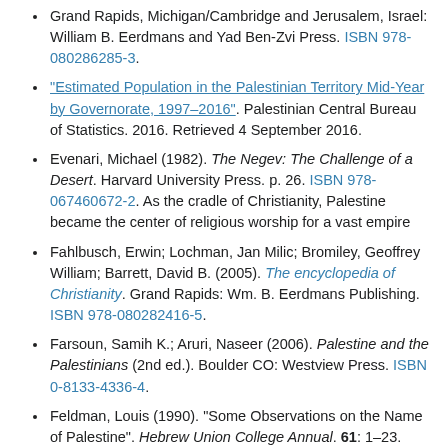Grand Rapids, Michigan/Cambridge and Jerusalem, Israel: William B. Eerdmans and Yad Ben-Zvi Press. ISBN 978-080286285-3.
"Estimated Population in the Palestinian Territory Mid-Year by Governorate, 1997–2016". Palestinian Central Bureau of Statistics. 2016. Retrieved 4 September 2016.
Evenari, Michael (1982). The Negev: The Challenge of a Desert. Harvard University Press. p. 26. ISBN 978-067460672-2. As the cradle of Christianity, Palestine became the center of religious worship for a vast empire
Fahlbusch, Erwin; Lochman, Jan Milic; Bromiley, Geoffrey William; Barrett, David B. (2005). The encyclopedia of Christianity. Grand Rapids: Wm. B. Eerdmans Publishing. ISBN 978-080282416-5.
Farsoun, Samih K.; Aruri, Naseer (2006). Palestine and the Palestinians (2nd ed.). Boulder CO: Westview Press. ISBN 0-8133-4336-4.
Feldman, Louis (1990). "Some Observations on the Name of Palestine". Hebrew Union College Annual. 61: 1–23. JSTOR 23508170.
Feldman, Louis H. (1996) [First published 1990]. "Some Observations on the Name of Palestine". Studies in Hellenistic Judaism. Leiden: Brill. pp. 553–576. ISBN 978-900410418-1.
Finkelstein, I; Mazar, A.; Schmidt, B. (2007). The Quest for the Historical Israel. Atlanta, GA: Society of Biblical Literature.